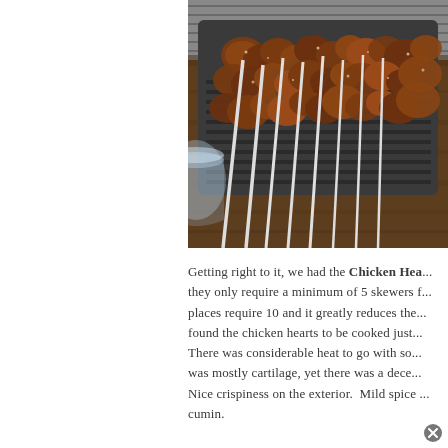[Figure (photo): Chicken heart skewers on a dark rectangular grill tray on a wooden table, with a glass visible on the left side. Multiple skewers with seasoned/charred meat pieces, white skewer sticks extending out from the tray.]
Getting right to it, we had the Chicken Hea... they only require a minimum of 5 skewers t... places require 10 and it greatly reduces the... found the chicken hearts to be cooked just... There was considerable heat to go with so... was mostly cartilage, yet there was a dece... Nice crispiness on the exterior.  Mild spice ... cumin.